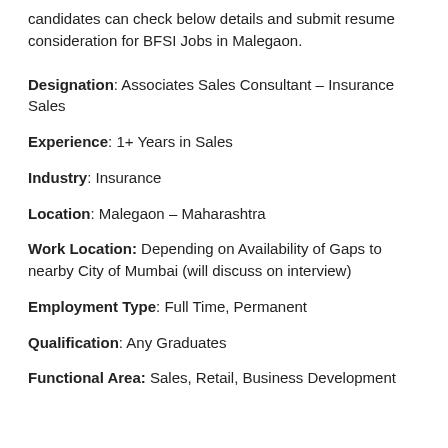candidates can check below details and submit resume consideration for BFSI Jobs in Malegaon.
Designation: Associates Sales Consultant – Insurance Sales
Experience: 1+ Years in Sales
Industry: Insurance
Location: Malegaon – Maharashtra
Work Location: Depending on Availability of Gaps to nearby City of Mumbai (will discuss on interview)
Employment Type: Full Time, Permanent
Qualification: Any Graduates
Functional Area: Sales, Retail, Business Development